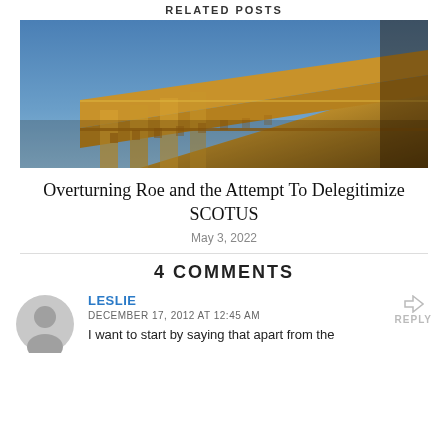RELATED POSTS
[Figure (photo): A photograph of the corner of a neoclassical building (Supreme Court) with golden stone columns and ornate decorations against a blue sky.]
Overturning Roe and the Attempt To Delegitimize SCOTUS
May 3, 2022
4 COMMENTS
LESLIE
DECEMBER 17, 2012 AT 12:45 AM
I want to start by saying that apart from the